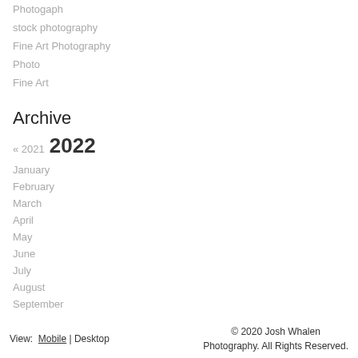Photogaph
stock photography
Fine Art Photography
Photo
Fine Art
Archive
« 2021  2022
January
February
March
April
May
June
July
August
September
View:  Mobile | Desktop   © 2020 Josh Whalen Photography. All Rights Reserved.